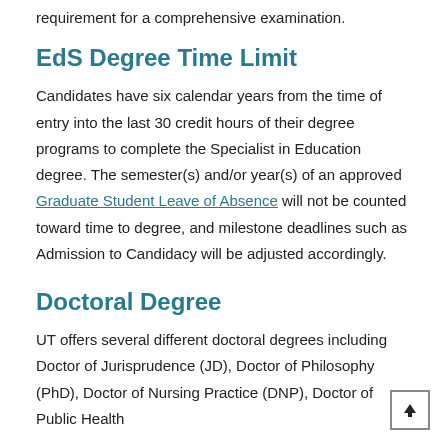requirement for a comprehensive examination.
EdS Degree Time Limit
Candidates have six calendar years from the time of entry into the last 30 credit hours of their degree programs to complete the Specialist in Education degree. The semester(s) and/or year(s) of an approved Graduate Student Leave of Absence will not be counted toward time to degree, and milestone deadlines such as Admission to Candidacy will be adjusted accordingly.
Doctoral Degree
UT offers several different doctoral degrees including Doctor of Jurisprudence (JD), Doctor of Philosophy (PhD), Doctor of Nursing Practice (DNP), Doctor of Public Health